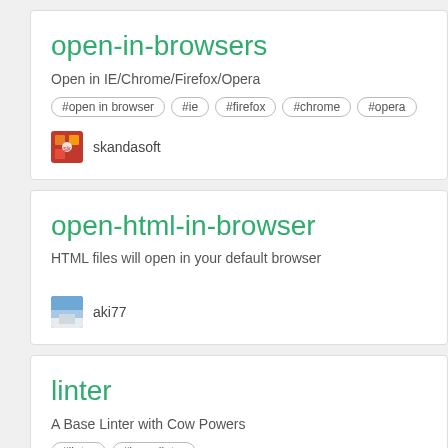open-in-browsers
Open in IE/Chrome/Firefox/Opera
#open in browser #ie #firefox #chrome #opera
skandasoft
open-html-in-browser
HTML files will open in your default browser
aki77
linter
A Base Linter with Cow Powers
#linter #base linter